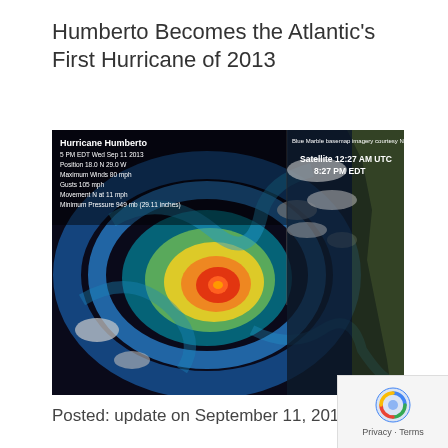Humberto Becomes the Atlantic’s First Hurricane of 2013
[Figure (photo): Satellite image of Hurricane Humberto showing infrared/radar composite. Left panel shows color-enhanced radar with bright orange and yellow eye region surrounded by spiral blue cloud bands. Right panel shows visible satellite imagery with white clouds over ocean near African coast. Overlaid text: Hurricane Humberto, 5 PM EDT Wed Sep 11 2013, Position 18.0 N 29.0 W, Maximum Winds 80 mph, Gusts 105 mph, Movement N at 11 mph, Minimum Pressure 949 mb (29.11 inches). Upper right: Blue Marble basemap imagery courtesy NASA. Satellite 12:27 AM UTC 8:27 PM EDT.]
Posted: update on September 11, 2013